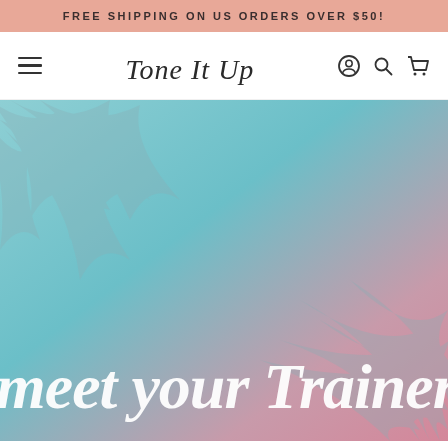FREE SHIPPING ON US ORDERS OVER $50!
[Figure (logo): Tone It Up cursive logo in the navigation bar, with hamburger menu on left and user/search/cart icons on right]
[Figure (photo): Hero image with a teal-to-pink gradient background with faded palm leaf silhouettes, featuring large white cursive script text reading 'meet your Trainers!']